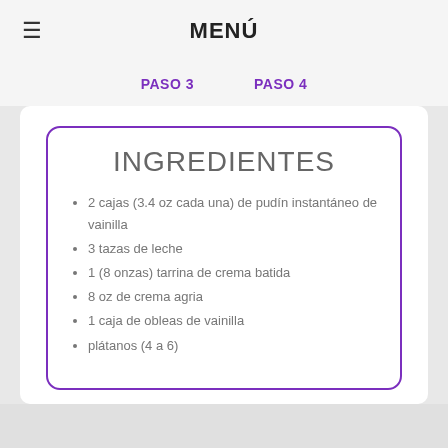MENÚ
PASO 3   PASO 4
INGREDIENTES
2 cajas (3.4 oz cada una) de pudín instantáneo de vainilla
3 tazas de leche
1 (8 onzas) tarrina de crema batida
8 oz de crema agria
1 caja de obleas de vainilla
plátanos (4 a 6)